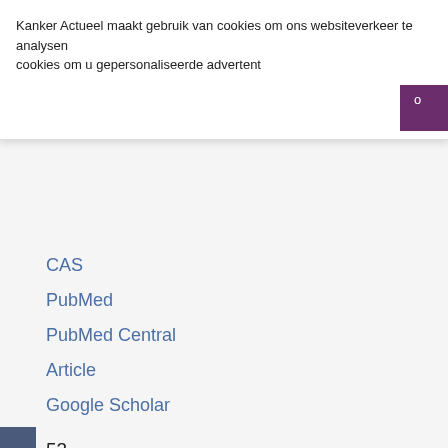Kanker Actueel maakt gebruik van cookies om ons websiteverkeer te analysen cookies om u gepersonaliseerde advertent
CAS
PubMed
PubMed Central
Article
Google Scholar
53.
McGranahan, N. et al. Clonal neoantigens elicit T cell imm to immune checkpoint blockade. Science 351, 1463–1469 (
CAS
PubMed
PubMed Central
Article
Google Scholar